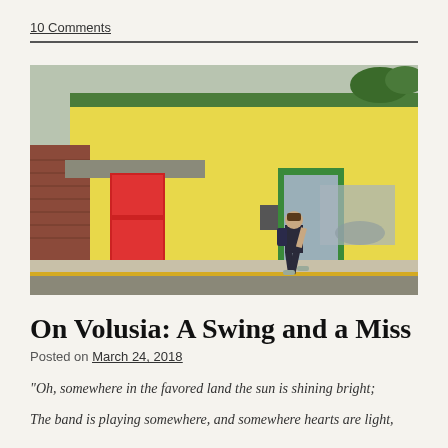10 Comments
[Figure (photo): Street scene showing a yellow building with colorful red and green-trimmed doors, a person with a backpack walking along the sidewalk, and a painted silhouette on the wall.]
On Volusia: A Swing and a Miss
Posted on March 24, 2018
“Oh, somewhere in the favored land the sun is shining bright;
The band is playing somewhere, and somewhere hearts are light,